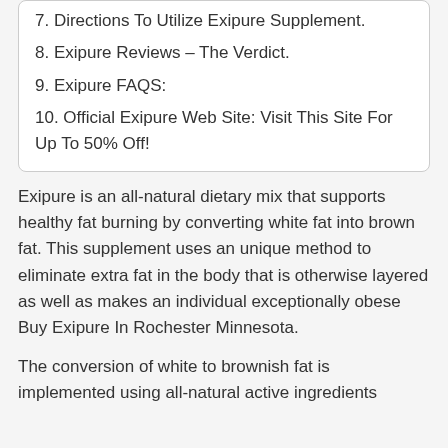7. Directions To Utilize Exipure Supplement.
8. Exipure Reviews – The Verdict.
9. Exipure FAQS:
10. Official Exipure Web Site: Visit This Site For Up To 50% Off!
Exipure is an all-natural dietary mix that supports healthy fat burning by converting white fat into brown fat. This supplement uses an unique method to eliminate extra fat in the body that is otherwise layered as well as makes an individual exceptionally obese Buy Exipure In Rochester Minnesota.
The conversion of white to brownish fat is implemented using all-natural active ingredients